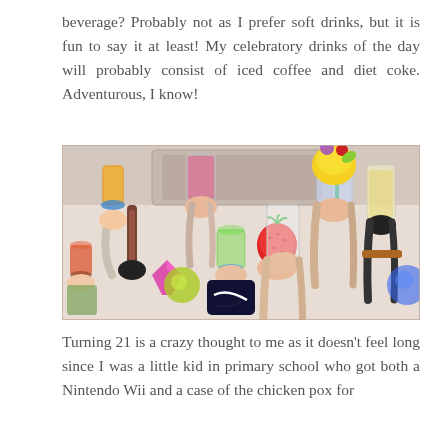beverage? Probably not as I prefer soft drinks, but it is fun to say it at least! My celebratory drinks of the day will probably consist of iced coffee and diet coke. Adventurous, I know!
[Figure (illustration): Anime-style illustration showing multiple hands holding various colorful drinks and beverages including smoothies, cocktails, a strawberry, and glasses, in a celebratory toast scene.]
Turning 21 is a crazy thought to me as it doesn't feel long since I was a little kid in primary school who got both a Nintendo Wii and a case of the chicken pox for